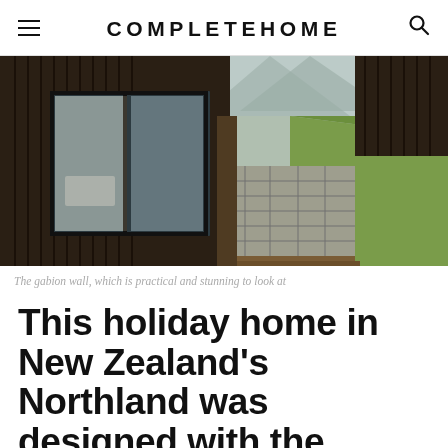COMPLETEHOME
[Figure (photo): Exterior of a holiday home in New Zealand's Northland featuring dark vertical timber cladding, large glass sliding doors revealing a bedroom, a gabion stone retaining wall, and a steep green grassy hillside in the background with mountains.]
The gabion wall, which is practical and stunning to look at
This holiday home in New Zealand's Northland was designed with the climate in mind